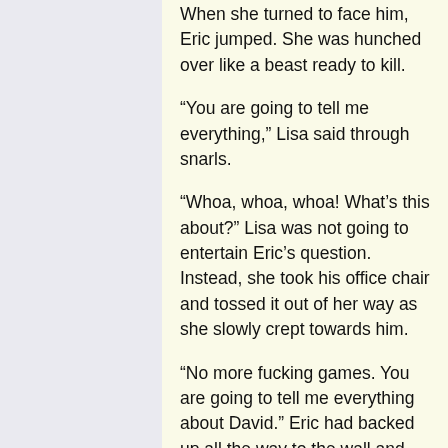When she turned to face him, Eric jumped. She was hunched over like a beast ready to kill.
“You are going to tell me everything,” Lisa said through snarls.
“Whoa, whoa, whoa! What’s this about?” Lisa was not going to entertain Eric’s question. Instead, she took his office chair and tossed it out of her way as she slowly crept towards him.
“No more fucking games. You are going to tell me everything about David.” Eric had backed up all the way to the wall and continued to press backwards as Lisa approached. She grabbed the collar of his black dress shirt, ripping a hole in it with her claws. With her other arm, she rested against the wall, completely blocking any path of escape.
“I don’t know what this is about, Robert…